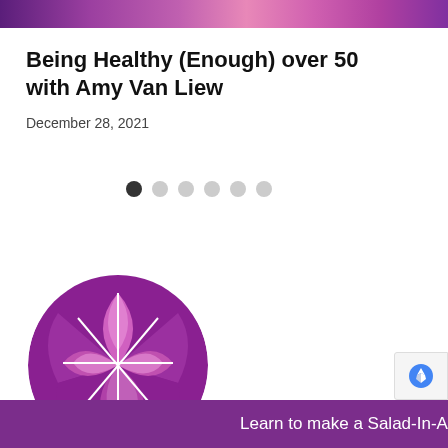[Figure (photo): Top banner with colorful background image of people]
Being Healthy (Enough) over 50 with Amy Van Liew
December 28, 2021
[Figure (infographic): Carousel navigation dots, one filled dark and five light gray]
[Figure (logo): Circular logo with purple and pink leaf/chevron pattern]
Learn to make a Salad-In-A Jar